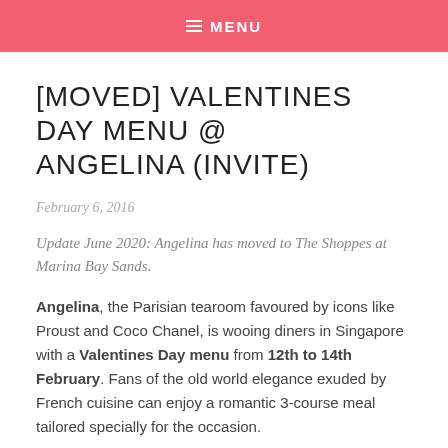≡ MENU
[MOVED] VALENTINES DAY MENU @ ANGELINA (INVITE)
February 6, 2016
Update June 2020: Angelina has moved to The Shoppes at Marina Bay Sands.
Angelina, the Parisian tearoom favoured by icons like Proust and Coco Chanel, is wooing diners in Singapore with a Valentines Day menu from 12th to 14th February. Fans of the old world elegance exuded by French cuisine can enjoy a romantic 3-course meal tailored specially for the occasion.